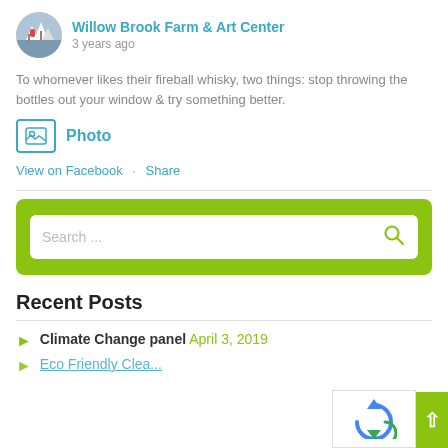Willow Brook Farm & Art Center
3 years ago
To whomever likes their fireball whisky, two things: stop throwing the bottles out your window & try something better.
Photo
View on Facebook · Share
[Figure (other): Search bar with green background containing a white search input field with placeholder text 'Search ...' and a green search icon]
Recent Posts
Climate Change panel April 3, 2019